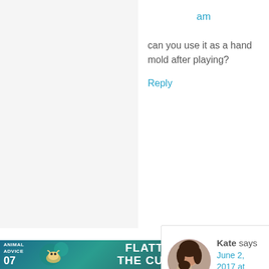am
can you use it as a hand mold after playing?
Reply
[Figure (photo): Circular avatar photo of Kate, a woman with dark hair holding a young child]
Kate says
June 2, 2017 at 5:33 pm
It would be worth giving it a try. I'm guessing it would not hold too long, but it would certainly show great detail.
[Figure (infographic): Advertisement banner: Animal Advice 07 - Flatten the Curve with decorative animal graphics]